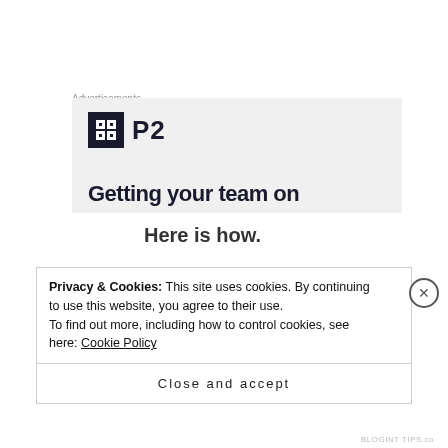Advertisements
[Figure (screenshot): Advertisement box with P2 logo and partial tagline 'Getting your team on']
Here is how.
1.  Follow me through bloglovin\'.  You must follow my bloglovin' to join.  ( 1 entry)
Privacy & Cookies: This site uses cookies. By continuing to use this website, you agree to their use.
To find out more, including how to control cookies, see here: Cookie Policy
Close and accept